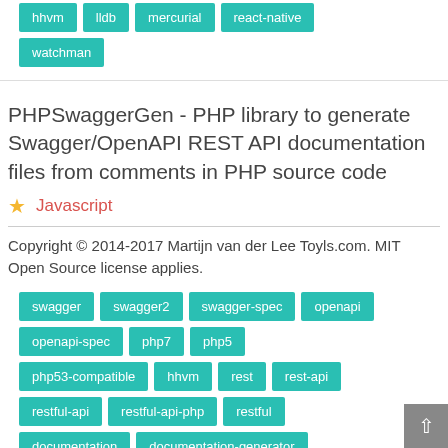hhvm
lldb
mercurial
react-native
watchman
PHPSwaggerGen - PHP library to generate Swagger/OpenAPI REST API documentation files from comments in PHP source code
Javascript
Copyright © 2014-2017 Martijn van der Lee Toyls.com. MIT Open Source license applies.
swagger
swagger2
swagger-spec
openapi
openapi-spec
php7
php5
php53-compatible
hhvm
rest
rest-api
restful-api
restful-api-php
restful
documentation
documentation-generator